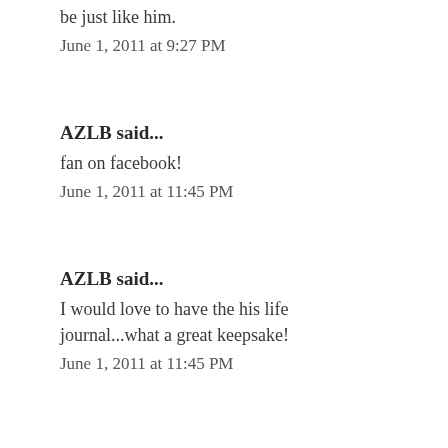be just like him.
June 1, 2011 at 9:27 PM
AZLB said...
fan on facebook!
June 1, 2011 at 11:45 PM
AZLB said...
I would love to have the his life journal...what a great keepsake!
June 1, 2011 at 11:45 PM